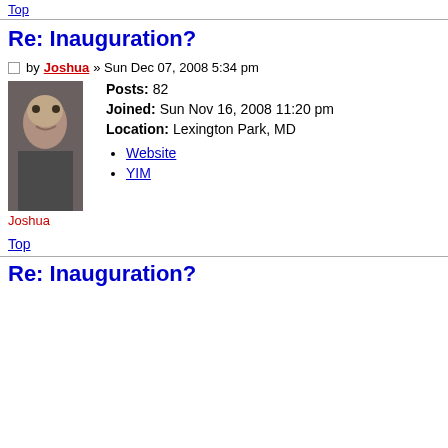Top
Re: Inauguration?
by Joshua » Sun Dec 07, 2008 5:34 pm
[Figure (photo): Avatar photo of Joshua, a man looking at camera]
Joshua
Posts: 82
Joined: Sun Nov 16, 2008 11:20 pm
Location: Lexington Park, MD
Website
YIM
Top
Re: Inauguration?